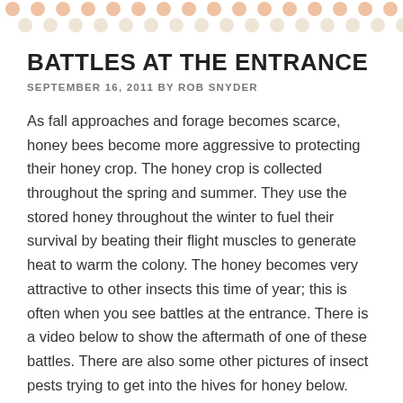[Figure (illustration): Decorative dot pattern header with orange and beige/tan colored circles arranged in rows along the top of the page]
BATTLES AT THE ENTRANCE
SEPTEMBER 16, 2011 BY ROB SNYDER
As fall approaches and forage becomes scarce, honey bees become more aggressive to protecting their honey crop. The honey crop is collected throughout the spring and summer. They use the stored honey throughout the winter to fuel their survival by beating their flight muscles to generate heat to warm the colony. The honey becomes very attractive to other insects this time of year; this is often when you see battles at the entrance. There is a video below to show the aftermath of one of these battles. There are also some other pictures of insect pests trying to get into the hives for honey below.